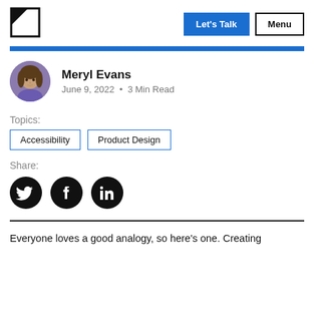Let's Talk  Menu
[Figure (illustration): Author avatar photo of Meryl Evans, a woman with curly brown hair]
Meryl Evans
June 9, 2022 · 3 Min Read
Topics:
Accessibility
Product Design
Share:
[Figure (logo): Twitter, Facebook, and LinkedIn social share icons (black circles)]
Everyone loves a good analogy, so here's one. Creating